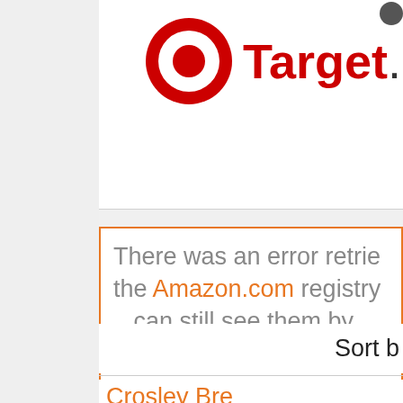[Figure (logo): Target.com logo with bullseye icon and bold red Target.com text]
There was an error retrie the Amazon.com registry can still see them by Amazon.co
Sort b
Crosley Bre Wall Mount